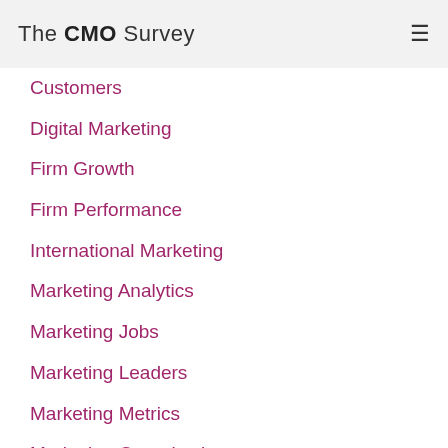The CMO Survey
Customers
Digital Marketing
Firm Growth
Firm Performance
International Marketing
Marketing Analytics
Marketing Jobs
Marketing Leaders
Marketing Metrics
Marketing Organization
Marketing Spending